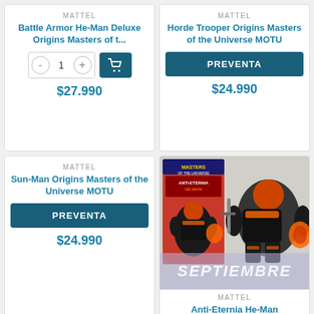MATTEL
Battle Armor He-Man Deluxe Origins Masters of t...
$27.990
MATTEL
Horde Trooper Origins Masters of the Universe MOTU
PREVENTA
$24.990
MATTEL
Sun-Man Origins Masters of the Universe MOTU
PREVENTA
$24.990
[Figure (photo): Action figure product image: Anti-Eternia He-Man with packaging showing Masters of the Universe box art. A black and orange muscular figure with sword. SEPTIEMBRE overlay banner.]
MATTEL
Anti-Eternia He-Man